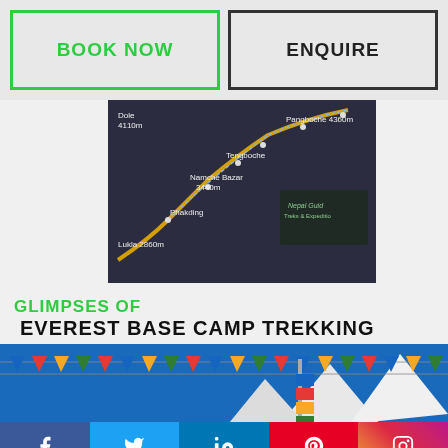BOOK NOW
ENQUIRE
[Figure (map): Trekking route map showing Lukla 2860m, Phakding, Namche Bazar 3440m, Tengboche, Dole 4110m, Pangboche 4360m with Nepal Guide Treks & Expedition logo]
GLIMPSES OF
EVEREST BASE CAMP TREKKING
[Figure (photo): Photo of Everest Base Camp trekking with colorful prayer flags against blue sky and snow-capped mountains, trekker visible]
Social media links: Facebook, Twitter, LinkedIn, Pinterest, Instagram